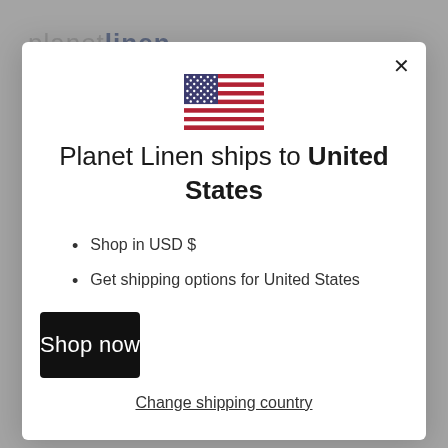[Figure (screenshot): Website screenshot background showing Planet Linen e-commerce site with gray overlay and product thumbnails]
[Figure (illustration): United States flag emoji/icon centered in the modal dialog]
Planet Linen ships to United States
Shop in USD $
Get shipping options for United States
Shop now
Change shipping country